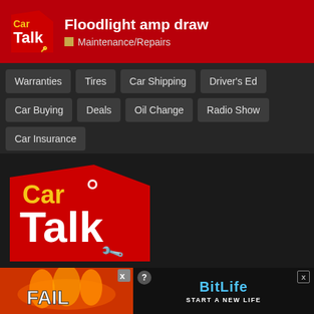Floodlight amp draw — Maintenance/Repairs
Warranties
Tires
Car Shipping
Driver's Ed
Car Buying
Deals
Oil Change
Radio Show
Car Insurance
[Figure (logo): Car Talk logo — red angular shape with 'Car' in yellow and 'Talk' in white large letters, with a wrench/key icon]
Cartalk.com is a production of Cartalk Digital Inc. We offer unbiased reviews and advice, bad jokes and a great ... py driving...
[Figure (infographic): BitLife advertisement banner with FAIL text, cartoon characters, flames, and 'START A NEW LIFE' tagline]